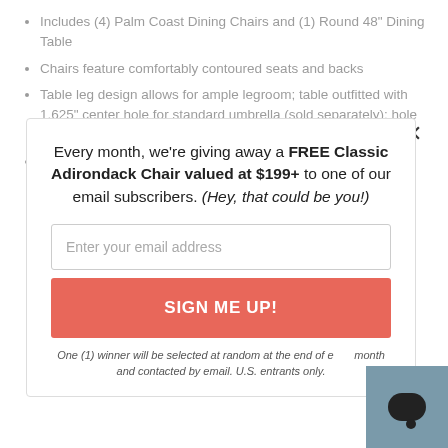Includes (4) Palm Coast Dining Chairs and (1) Round 48" Dining Table
Chairs feature comfortably contoured seats and backs
Table leg design allows for ample legroom; table outfitted with 1.625" center hole for standard umbrella (sold separately); hole cover included
Built to withstand a range of climates including hot sun, snowy
Every month, we’re giving away a FREE Classic Adirondack Chair valued at $199+ to one of our email subscribers. (Hey, that could be you!)
Enter your email address
SIGN ME UP!
One (1) winner will be selected at random at the end of each month and contacted by email. U.S. entrants only.
[Figure (other): Blue-grey chat support widget with speech bubble icon in bottom-right corner]